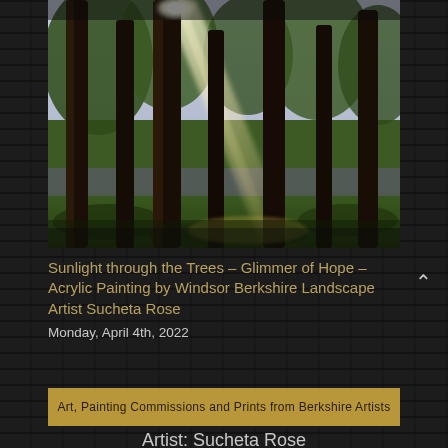[Figure (photo): Acrylic painting of sunlight streaming through tall trees in a park or forest. Strong diagonal light rays cut through the dark tree trunks. Green grass on the ground, blue-purple wildflowers in the background, a pale sky visible between the trees.]
Sunlight through the Trees – Glimmer of Hope – Acrylic Painting by Windsor Berkshire Landscape Artist Sucheta Rose
Monday, April 4th, 2022
Art, Painting Commissions and Prints from Berkshire Artists
Artist: Sucheta Rose